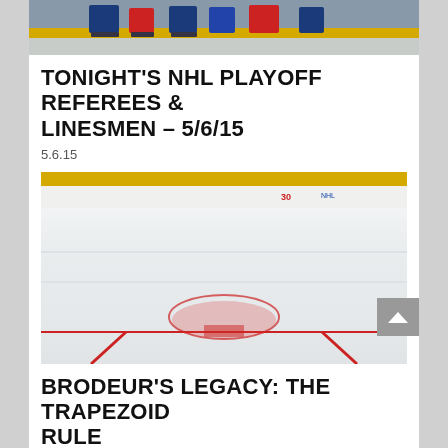[Figure (photo): Top portion of an NHL hockey game photo showing players on ice with yellow rink boards visible]
TONIGHT'S NHL PLAYOFF REFEREES & LINESMEN – 5/6/15
5.6.15
[Figure (photo): Ice rink photo showing the trapezoid area behind the goal with red markings on the ice, yellow boards visible at top, jersey number 30 visible in background]
BRODEUR'S LEGACY: THE TRAPEZOID RULE